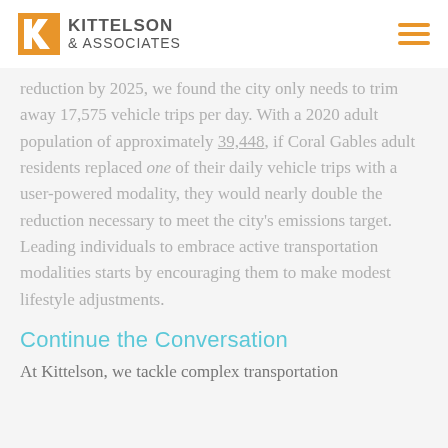KITTELSON & ASSOCIATES
reduction by 2025, we found the city only needs to trim away 17,575 vehicle trips per day. With a 2020 adult population of approximately 39,448, if Coral Gables adult residents replaced one of their daily vehicle trips with a user-powered modality, they would nearly double the reduction necessary to meet the city's emissions target. Leading individuals to embrace active transportation modalities starts by encouraging them to make modest lifestyle adjustments.
Continue the Conversation
At Kittelson, we tackle complex transportation